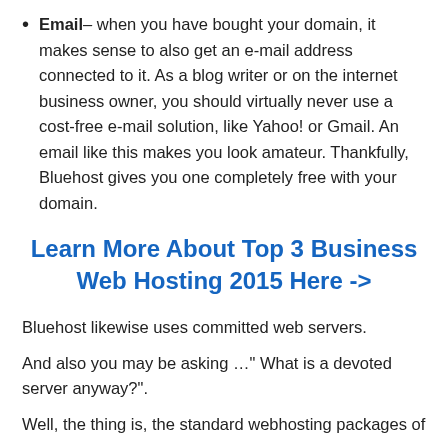Email– when you have bought your domain, it makes sense to also get an e-mail address connected to it. As a blog writer or on the internet business owner, you should virtually never use a cost-free e-mail solution, like Yahoo! or Gmail. An email like this makes you look amateur. Thankfully, Bluehost gives you one completely free with your domain.
Learn More About Top 3 Business Web Hosting 2015 Here ->
Bluehost likewise uses committed web servers.
And also you may be asking …" What is a devoted server anyway?".
Well, the thing is, the standard webhosting packages of